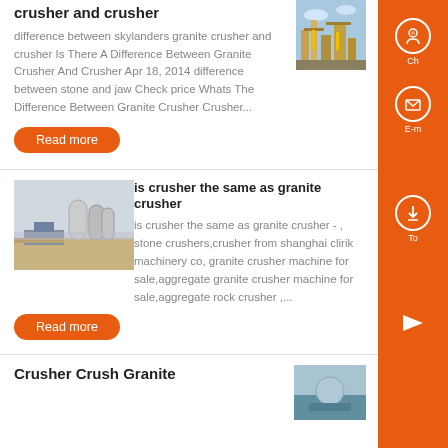crusher and crusher
difference between skylanders granite crusher and crusher Is There A Difference Between Granite Crusher And Crusher Apr 18, 2014 difference between stone and jaw Check price Whats The Difference Between Granite Crusher Crusher...
[Figure (photo): Industrial plant/facility photo]
Read more
[Figure (photo): Outdoor industrial/quarry site photo]
is crusher the same as granite crusher
is crusher the same as granite crusher - , stone crushers,crusher from shanghai clirik machinery co, granite crusher machine for sale,aggregate granite crusher machine for sale,aggregate rock crusher ,...
Read more
Crusher Crush Granite
[Figure (photo): Granite/rock image partial]